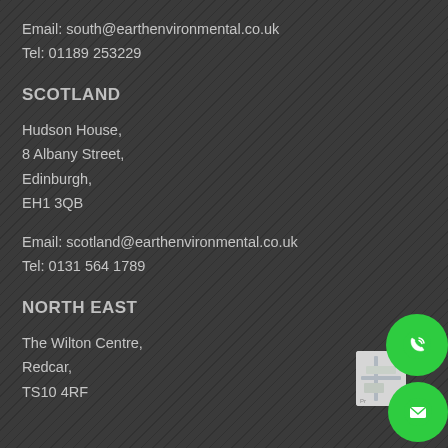Email: south@earthenvironmental.co.uk
Tel: 01189 253229
SCOTLAND
Hudson House,
8 Albany Street,
Edinburgh,
EH1 3QB
Email: scotland@earthenvironmental.co.uk
Tel: 0131 564 1789
NORTH EAST
The Wilton Centre,
Redcar,
TS10 4RF